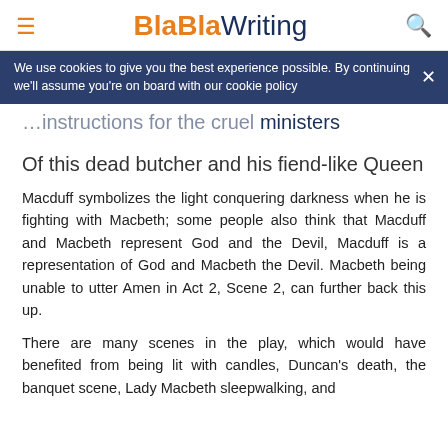BlaBlaWriting
We use cookies to give you the best experience possible. By continuing we'll assume you're on board with our cookie policy
…instructions for the cruel ministers
Of this dead butcher and his fiend-like Queen
Macduff symbolizes the light conquering darkness when he is fighting with Macbeth; some people also think that Macduff and Macbeth represent God and the Devil, Macduff is a representation of God and Macbeth the Devil. Macbeth being unable to utter Amen in Act 2, Scene 2, can further back this up.
There are many scenes in the play, which would have benefited from being lit with candles, Duncan's death, the banquet scene, Lady Macbeth sleepwalking, and